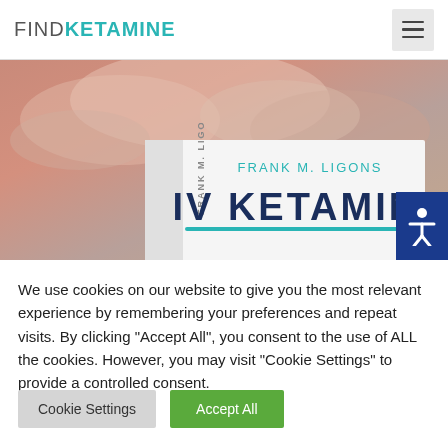FINDKETAMINE
[Figure (photo): Book cover of 'IV Ketamine' by Frank M. Ligons shown against a warm sunset sky background. The white book shows the author name 'FRANK M. LIGONS' and the large title 'IV KETAMINE' in bold navy letters.]
We use cookies on our website to give you the most relevant experience by remembering your preferences and repeat visits. By clicking "Accept All", you consent to the use of ALL the cookies. However, you may visit "Cookie Settings" to provide a controlled consent.
Cookie Settings
Accept All